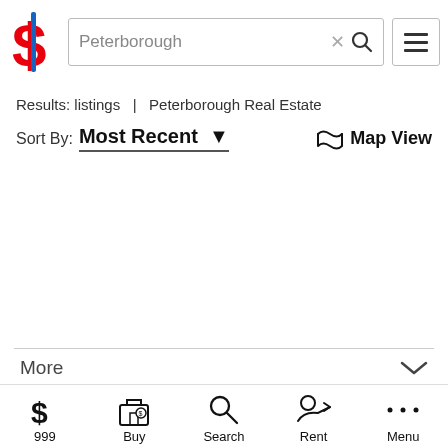[Figure (screenshot): App header with dollar sign logo, search bar showing 'Peterborough', clear (x) button, search icon, and hamburger menu button]
Results: listings  |  Peterborough Real Estate
Sort By:  Most Recent ▼
🗺 Map View
More
999  Buy  Search  Rent  Menu